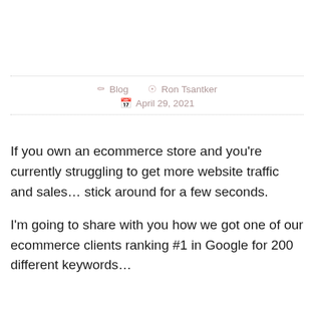Blog   Ron Tsantker   April 29, 2021
If you own an ecommerce store and you're currently struggling to get more website traffic and sales… stick around for a few seconds.
I'm going to share with you how we got one of our ecommerce clients ranking #1 in Google for 200 different keywords…